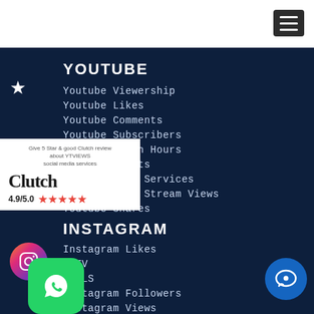Navigation header with hamburger menu
YOUTUBE
Youtube Viewership
Youtube Likes
Youtube Comments
Youtube Subscribers
Youtube Watch Hours
Youtube Shorts
Youtube Auto Services
Youtube Live Stream Views
Youtube Shares
[Figure (infographic): Clutch review widget showing 4.9/5.0 rating with 5 red stars and text 'Give 5 Star & good Clutch review about YTVIEWS social media services']
INSTAGRAM
Instagram Likes
IGTV
REELS
Instagram Followers
Instagram Views
Instagram Comments
[Figure (logo): WhatsApp green icon button]
[Figure (logo): Blue chat bubble customer service icon]